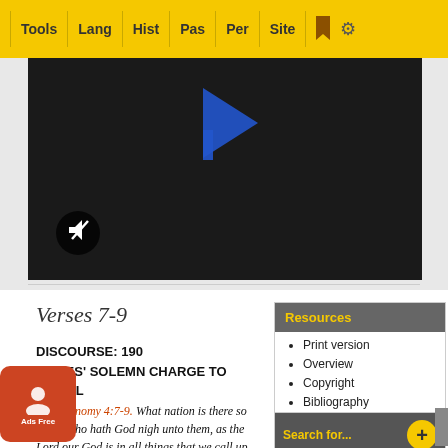Tools | Lang | Hist | Pas | Per | Site
[Figure (screenshot): Dark video player area with blue play icon and mute button]
Verses 7-9
DISCOURSE: 190 MOSES' SOLEMN CHARGE TO ISRAEL
Deuteronomy 4:7-9. What nation is there so great, who hath God nigh unto them, as the Lord our God is in all things that we call upon him for? And what great nation is there,
Print version
Overview
Copyright
Bibliography